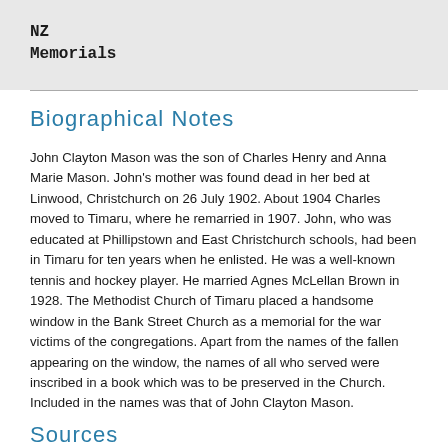NZ
Memorials
Biographical Notes
John Clayton Mason was the son of Charles Henry and Anna Marie Mason. John's mother was found dead in her bed at Linwood, Christchurch on 26 July 1902. About 1904 Charles moved to Timaru, where he remarried in 1907. John, who was educated at Phillipstown and East Christchurch schools, had been in Timaru for ten years when he enlisted. He was a well-known tennis and hockey player. He married Agnes McLellan Brown in 1928. The Methodist Church of Timaru placed a handsome window in the Bank Street Church as a memorial for the war victims of the congregations. Apart from the names of the fallen appearing on the window, the names of all who served were inscribed in a book which was to be preserved in the Church. Included in the names was that of John Clayton Mason.
Sources